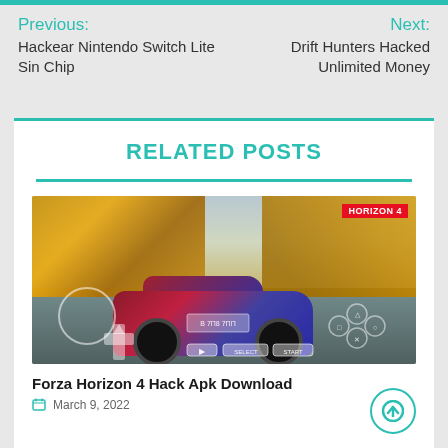Previous: Hackear Nintendo Switch Lite Sin Chip | Next: Drift Hunters Hacked Unlimited Money
RELATED POSTS
[Figure (screenshot): Screenshot of Forza Horizon 4 game showing a sports car on an autumn road with mobile game HUD controls overlay]
Forza Horizon 4 Hack Apk Download
March 9, 2022